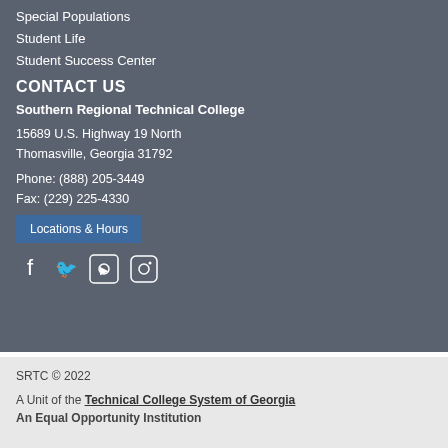Special Populations
Student Life
Student Success Center
CONTACT US
Southern Regional Technical College
15689 U.S. Highway 19 North
Thomasville, Georgia 31792
Phone: (888) 205-3449
Fax: (229) 225-4330
Locations & Hours
Website Feedback
SRTC © 2022
A Unit of the Technical College System of Georgia
An Equal Opportunity Institution